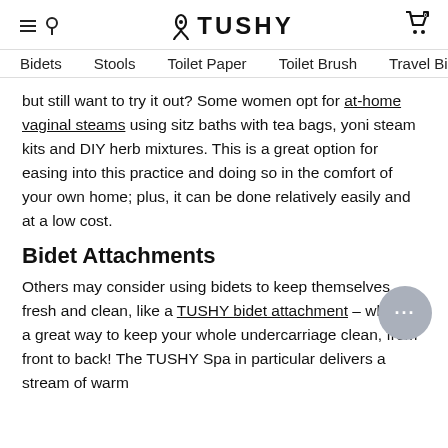TUSHY
Bidets   Stools   Toilet Paper   Toilet Brush   Travel Bide
but still want to try it out? Some women opt for at-home vaginal steams using sitz baths with tea bags, yoni steam kits and DIY herb mixtures. This is a great option for easing into this practice and doing so in the comfort of your own home; plus, it can be done relatively easily and at a low cost.
Bidet Attachments
Others may consider using bidets to keep themselves fresh and clean, like a TUSHY bidet attachment – which is a great way to keep your whole undercarriage clean, from front to back! The TUSHY Spa in particular delivers a stream of warm